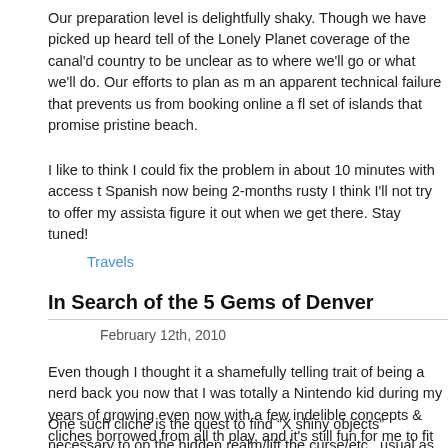Our preparation level is delightfully shaky.  Though we have picked up heard tell of the Lonely Planet coverage of the canal'd country to be unclear as to where we'll go or what we'll do.  Our efforts to plan as m an apparent technical failure that prevents us from booking online a fl set of islands that promise pristine beach.
I like to think I could fix the problem in about 10 minutes with access t Spanish now being 2-months rusty I think I'll not try to offer my assista figure it out when we get there.  Stay tuned!
Travels
In Search of the 5 Gems of Denver
February 12th, 2010
Even though I thought it a shamefully telling trait of being a nerd back you now that I was totally a Nintendo kid during my years of growing even now with a few indelible concepts & cliches borrowed from all th play, and it's still fun for me to fit them to my every day life.
One such cliche is the quest to find “X shiny objects” necessary to op the hidden realm/lift the curse/etc., usual as a prerequisite to finding a guy and winning the game.  Zelda had its 8 pieces of the TriForce th